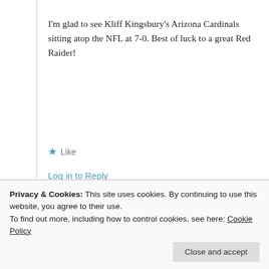I'm glad to see Kliff Kingsbury's Arizona Cardinals sitting atop the NFL at 7-0. Best of luck to a great Red Raider!
★ Like
Log in to Reply
theearthspins
October 26, 2021 at 7:27 pm
Log in to Reply
Privacy & Cookies: This site uses cookies. By continuing to use this website, you agree to their use.
To find out more, including how to control cookies, see here: Cookie Policy
Close and accept